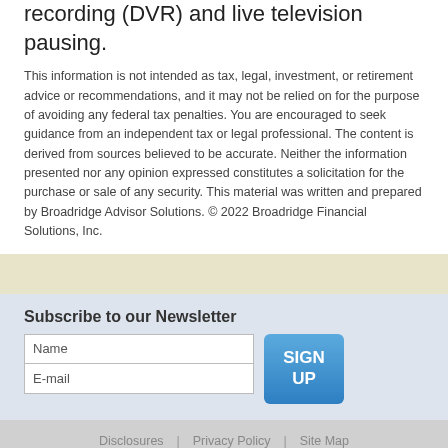recording (DVR) and live television pausing.
This information is not intended as tax, legal, investment, or retirement advice or recommendations, and it may not be relied on for the purpose of avoiding any federal tax penalties. You are encouraged to seek guidance from an independent tax or legal professional. The content is derived from sources believed to be accurate. Neither the information presented nor any opinion expressed constitutes a solicitation for the purchase or sale of any security. This material was written and prepared by Broadridge Advisor Solutions. © 2022 Broadridge Financial Solutions, Inc.
Subscribe to our Newsletter
Name
E-mail
SIGN UP
Disclosures | Privacy Policy | Site Map
Copyright 2022. New York Life Insurance Company. All Rights Reserved. NYLIFE Securities LLC, Member FINRA/SIPC. For additional information, visit Customer Relationship Summary.pdf